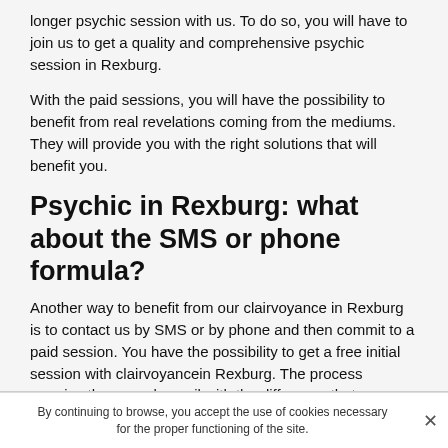longer psychic session with us. To do so, you will have to join us to get a quality and comprehensive psychic session in Rexburg.
With the paid sessions, you will have the possibility to benefit from real revelations coming from the mediums. They will provide you with the right solutions that will benefit you.
Psychic in Rexburg: what about the SMS or phone formula?
Another way to benefit from our clairvoyance in Rexburg is to contact us by SMS or by phone and then commit to a paid session. You have the possibility to get a free initial session with clairvoyancein Rexburg. The process remains the same by mail with the difference that :
By continuing to browse, you accept the use of cookies necessary for the proper functioning of the site. ×